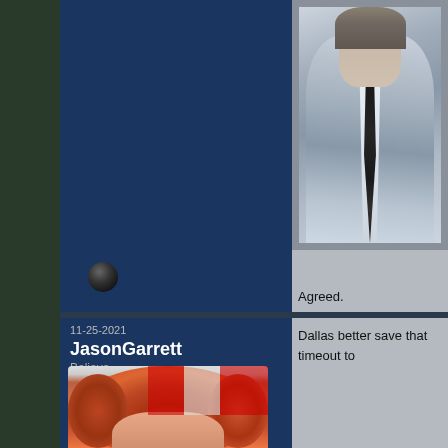[Figure (photo): Social media interface showing two post cards. Top post: dark navy blue left panel with a bullet/avatar icon at bottom, right panel shows a man in a light grey suit with dark tie (photo). Below the photo the text 'Agreed.' appears. Bottom post: dated 11-25-2021, username JasonGarrett, tagline 'Believe.', with a photo of a person with curly red hair. Right panel shows text 'Dallas better save that timeout to']
Agreed.
11-25-2021
JasonGarrett
Believe.
Dallas better save that timeout to